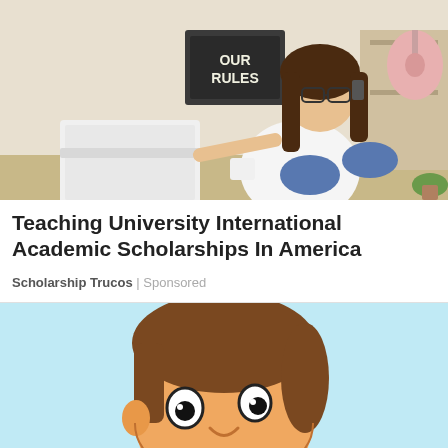[Figure (photo): Young woman with glasses sitting on floor with laptop open, talking on phone, with a chalkboard sign saying 'OUR RULES' and a guitar in the background]
Teaching University International Academic Scholarships In America
Scholarship Trucos | Sponsored
[Figure (illustration): Cartoon illustration of a Mii-style character face with brown hair on a light blue background, smiling]